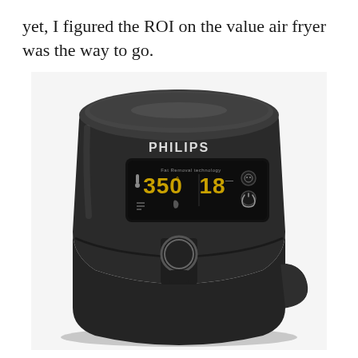yet, I figured the ROI on the value air fryer was the way to go.
[Figure (photo): A Philips black air fryer with a digital display showing 350°F and 18 minutes, featuring touch controls and a central dial/pull handle on the front.]